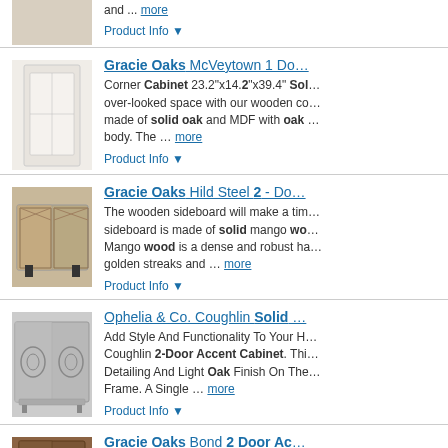[Figure (photo): Partial product image at top of page - wooden cabinet/sideboard]
and ... more
Product Info ▼
Gracie Oaks McVeytown 1 Do...
Corner Cabinet 23.2"x14.2"x39.4" Sol... over-looked space with our wooden co... made of solid oak and MDF with oak ... body. The ... more
Product Info ▼
Gracie Oaks Hild Steel 2 - Do...
The wooden sideboard will make a tim... sideboard is made of solid mango wo... Mango wood is a dense and robust ha... golden streaks and ... more
Product Info ▼
Ophelia & Co. Coughlin Solid ...
Add Style And Functionality To Your H... Coughlin 2-Door Accent Cabinet. Thi... Detailing And Light Oak Finish On The... Frame. A Single ... more
Product Info ▼
Gracie Oaks Bond 2 Door Ac...
A cabinet top can be used for displayi... and elegant, cabinets are more than j... lamp. Add unique stylish storage to yo...